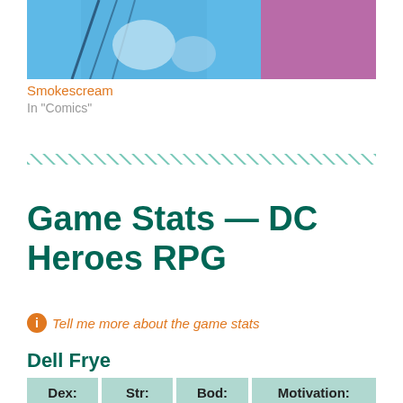[Figure (illustration): Comic book illustration showing a character in blue and pink/magenta colors, cropped at top]
Smokescream
In "Comics"
[Figure (other): Diagonal hatched divider line across the page]
Game Stats — DC Heroes RPG
Tell me more about the game stats
Dell Frye
| Dex: | Str: | Bod: | Motivation: |
| --- | --- | --- | --- |